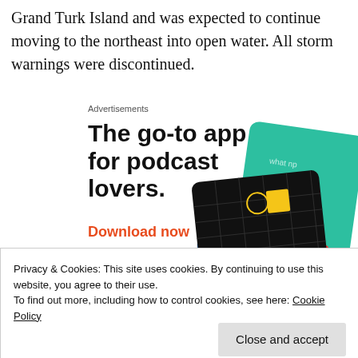Grand Turk Island and was expected to continue moving to the northeast into open water. All storm warnings were discontinued.
Advertisements
[Figure (illustration): Advertisement for a podcast app — headline reads 'The go-to app for podcast lovers.' with a 'Download now' link in orange-red, and an illustration of podcast app cards including a '99% Invisible' card (black grid card with yellow square icon) and a green card labeled 'Overcast/On'.]
Privacy & Cookies: This site uses cookies. By continuing to use this website, you agree to their use.
To find out more, including how to control cookies, see here: Cookie Policy
Close and accept